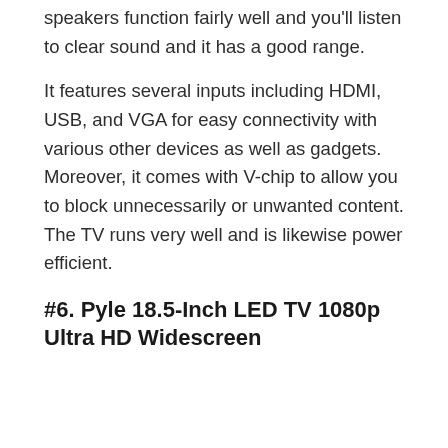speakers function fairly well and you'll listen to clear sound and it has a good range.
It features several inputs including HDMI, USB, and VGA for easy connectivity with various other devices as well as gadgets. Moreover, it comes with V-chip to allow you to block unnecessarily or unwanted content. The TV runs very well and is likewise power efficient.
#6. Pyle 18.5-Inch LED TV 1080p Ultra HD Widescreen